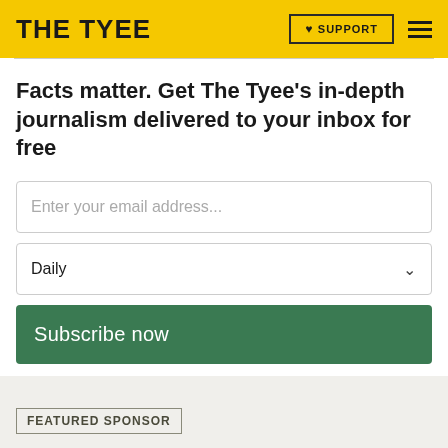THE TYEE | SUPPORT
Facts matter. Get The Tyee's in-depth journalism delivered to your inbox for free
Enter your email address...
Daily
Subscribe now
Privacy policy
FEATURED SPONSOR